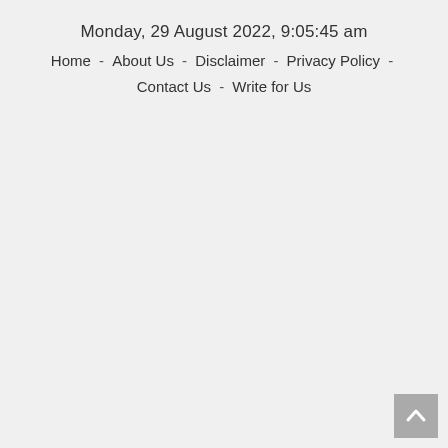Monday, 29 August 2022, 9:05:45 am
Home  -  About Us  -  Disclaimer  -  Privacy Policy  -  Contact Us  -  Write for Us